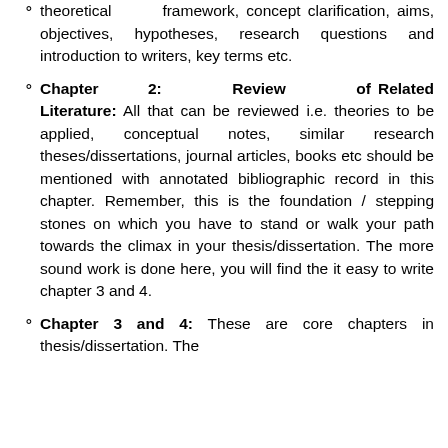Chapter 1: Introduction: It should include, theoretical framework, concept clarification, aims, objectives, hypotheses, research questions and introduction to writers, key terms etc.
Chapter 2: Review of Related Literature: All that can be reviewed i.e. theories to be applied, conceptual notes, similar research theses/dissertations, journal articles, books etc should be mentioned with annotated bibliographic record in this chapter. Remember, this is the foundation / stepping stones on which you have to stand or walk your path towards the climax in your thesis/dissertation. The more sound work is done here, you will find the it easy to write chapter 3 and 4.
Chapter 3 and 4: These are core chapters in thesis/dissertation. The